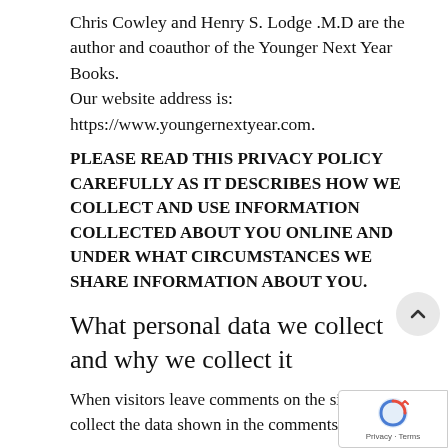Chris Cowley and Henry S. Lodge .M.D are the author and coauthor of the Younger Next Year Books.
Our website address is: https://www.youngernextyear.com.
PLEASE READ THIS PRIVACY POLICY CAREFULLY AS IT DESCRIBES HOW WE COLLECT AND USE INFORMATION COLLECTED ABOUT YOU ONLINE AND UNDER WHAT CIRCUMSTANCES WE SHARE INFORMATION ABOUT YOU.
What personal data we collect and why we collect it
When visitors leave comments on the site we collect the data shown in the comments form,